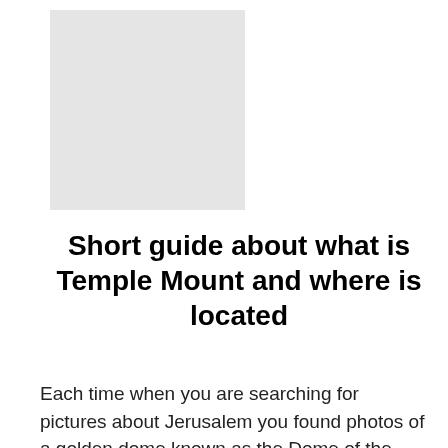[Figure (photo): Gray placeholder image rectangle]
Short guide about what is Temple Mount and where is located
Each time when you are searching for pictures about Jerusalem you found photos of a golden dome known as the Dome of the Rock. That …